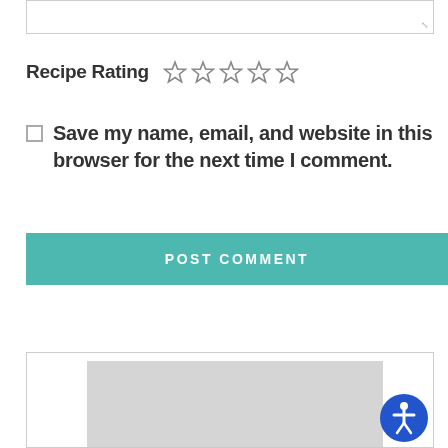[Figure (screenshot): Textarea input box at the top of the page]
Recipe Rating ☆☆☆☆☆
Save my name, email, and website in this browser for the next time I comment.
POST COMMENT
[Figure (screenshot): Bottom content box with a gray image area placeholder and an accessibility icon in the bottom right corner]